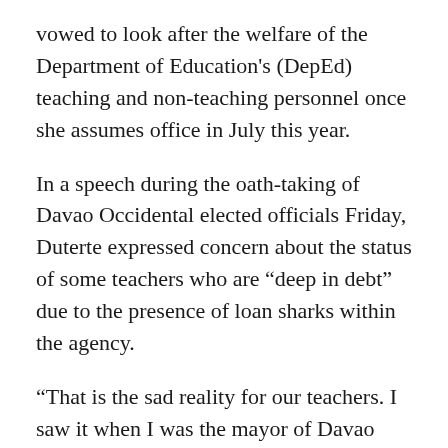vowed to look after the welfare of the Department of Education's (DepEd) teaching and non-teaching personnel once she assumes office in July this year.
In a speech during the oath-taking of Davao Occidental elected officials Friday, Duterte expressed concern about the status of some teachers who are “deep in debt” due to the presence of loan sharks within the agency.
“That is the sad reality for our teachers. I saw it when I was the mayor of Davao City,” said Duterte, the incoming DepEd secretary.
Mayor Sara narrated that a teacher who is not